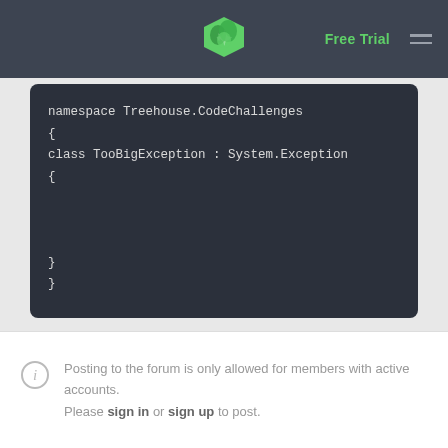Free Trial
[Figure (screenshot): Dark code editor block showing C# namespace and class definition: namespace Treehouse.CodeChallenges { class TooBigException : System.Exception { } }]
Posting to the forum is only allowed for members with active accounts. Please sign in or sign up to post.